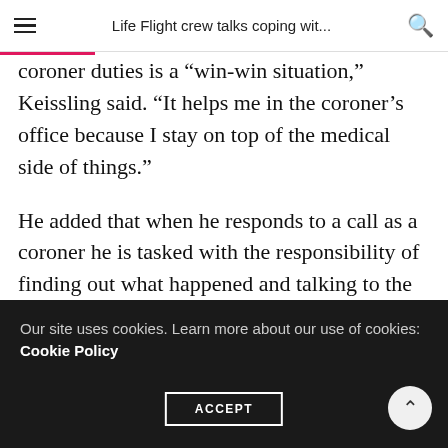Life Flight crew talks coping wit...
coroner duties is a “win-win situation,” Keissling said. “It helps me in the coroner’s office because I stay on top of the medical side of things.”
He added that when he responds to a call as a coroner he is tasked with the responsibility of finding out what happened and talking to the family that is left behind. There is no good outcome.
But as a Life Flight nurse he can see many of his efforts
Our site uses cookies. Learn more about our use of cookies: Cookie Policy
ACCEPT